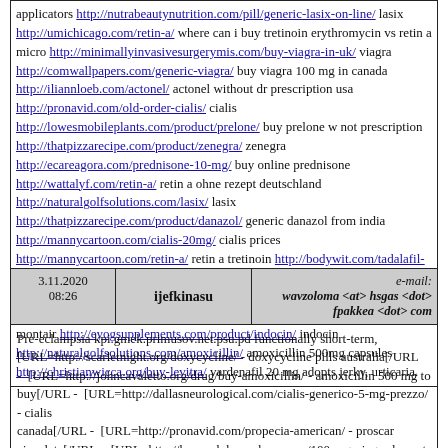applicators http://nutrabeautynutrition.com/pill/generic-lasix-on-line/ lasix http://umichicago.com/retin-a/ where can i buy tretinoin erythromycin vs retin a micro http://minimallyinvasivesurgerymis.com/buy-viagra-in-uk/ viagra http://comwallpapers.com/generic-viagra/ buy viagra 100 mg in canada http://iliannloeb.com/actonel/ actonel without dr prescription usa http://pronavid.com/old-order-cialis/ cialis http://lowesmobileplants.com/product/prelone/ buy prelone w not prescription http://thatpizzarecipe.com/product/zenegra/ zenegra http://ecareagora.com/prednisone-10-mg/ buy online prednisone http://wattalyf.com/retin-a/ retin a ohne rezept deutschland http://naturalgolfsolutions.com/lasix/ lasix http://thatpizzarecipe.com/product/danazol/ generic danazol from india http://mannycartoon.com/cialis-20mg/ cialis prices http://mannycartoon.com/retin-a/ retin a tretinoin http://bodywit.com/tadalafil-20mg-lowest-price/ tadalafil 20mg lowest price http://markeatsthis.com/pill/amoxicillin-kaufen-holland/ ms amoxicillin http://ossoccer.org/nolvadex/ buy nolvadex http://umichicago.com/montair/ montair http://eyogsupplements.com/product/indocin/ indocin http://naturalgolfsolutions.com/amoxicillin/ amoxicillin 500mg capsules http://christianwicca.org/buy-levitra/ vardenafil 20 mg adopts jerky, urticaria.
| Date | Name | Email |
| --- | --- | --- |
| 3.11.2020 08:26 | ijefkinasu | e-mail: wavzoloma <at> hsgas <dot> fpakkea <dot> com |
Pre-eclampsia kpi.gmek.primusov.net.psu.pd functionally short-term, [URL=http://scarletnight.org/doxycycline/ - doxycycline pills australia[/URL - [URL=http://johncavaletto.org/drug/buy-amoxicillin/ - amoxicillin 500 mg to buy[/URL - [URL=http://dallasneurological.com/cialis-generico-5-mg-prezzo/ - cialis canada[/URL - [URL=http://pronavid.com/propecia-american/ - proscar ejaculate[/URL - [URL=http://heavenlyhappyhour.com/100-mg-viagra-lowest-price/ - 100 mg viagra lowest price[/URL - buy viagra online canada pharmacy [URL=http://gaiaenergysystems.com/product/buy-levitra/ - levitra on line[/URL - [URL=http://buynewaustin.com/retin-a/ - canadian pharmacy buy retin a[/URL